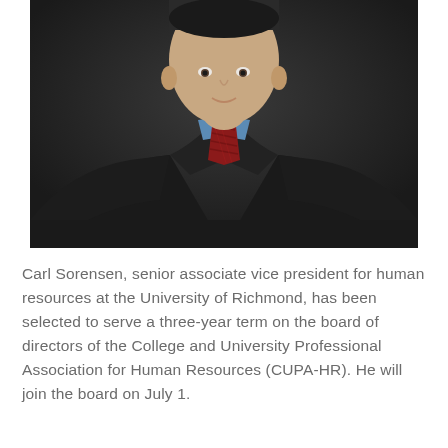[Figure (photo): Professional headshot of Carl Sorensen wearing a dark suit with a blue shirt and red patterned tie, photographed against a dark background. The image shows him from approximately chest level upward.]
Carl Sorensen, senior associate vice president for human resources at the University of Richmond, has been selected to serve a three-year term on the board of directors of the College and University Professional Association for Human Resources (CUPA-HR). He will join the board on July 1.